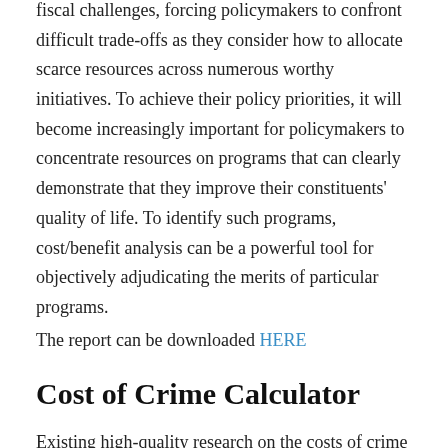fiscal challenges, forcing policymakers to confront difficult trade-offs as they consider how to allocate scarce resources across numerous worthy initiatives. To achieve their policy priorities, it will become increasingly important for policymakers to concentrate resources on programs that can clearly demonstrate that they improve their constituents' quality of life. To identify such programs, cost/benefit analysis can be a powerful tool for objectively adjudicating the merits of particular programs.
The report can be downloaded HERE
Cost of Crime Calculator
Existing high-quality research on the costs of crime and the effectiveness of police demonstrates that public investment in police can generate substantial social